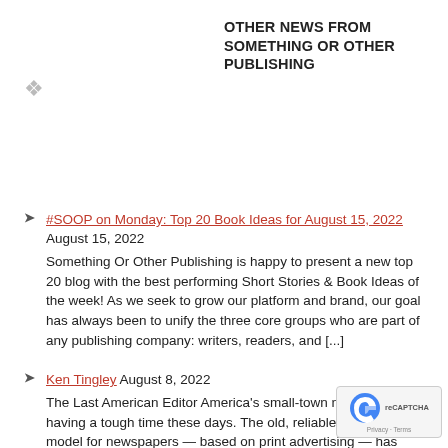OTHER NEWS FROM SOMETHING OR OTHER PUBLISHING
#SOOP on Monday: Top 20 Book Ideas for August 15, 2022 August 15, 2022 Something Or Other Publishing is happy to present a new top 20 blog with the best performing Short Stories & Book Ideas of the week! As we seek to grow our platform and brand, our goal has always been to unify the three core groups who are part of any publishing company: writers, readers, and [...]
Ken Tingley August 8, 2022 The Last American Editor America's small-town newspapers are having a tough time these days. The old, reliable business model for newspapers — based on print advertising — has died, and so has their presence in communities. Even those who prevailed shrank their